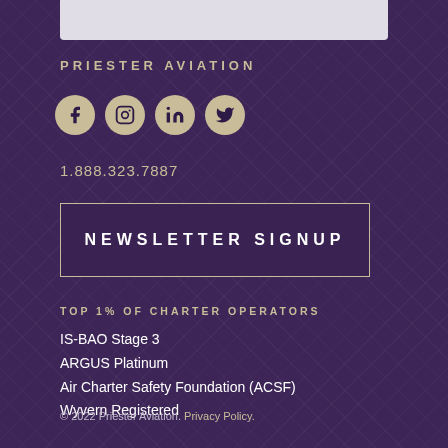[Figure (other): Gray decorative bar at top of footer section]
PRIESTER AVIATION
[Figure (other): Social media icons: Facebook, Instagram, LinkedIn, Twitter — gold circles on purple background]
1.888.323.7887
NEWSLETTER SIGNUP
TOP 1% OF CHARTER OPERATORS
IS-BAO Stage 3
ARGUS Platinum
Air Charter Safety Foundation (ACSF)
Wyvern Registered
© 2022 Priester Aviation. Privacy Policy.